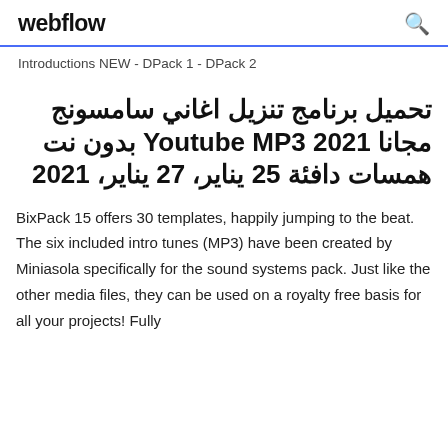webflow
Introductions NEW - DPack 1 - DPack 2
تحميل برنامج تنزيل اغاني سامسونج مجانا Youtube MP3 2021 بدون نت همسات دافئة 25 يناير، 27 يناير، 2021
BixPack 15 offers 30 templates, happily jumping to the beat. The six included intro tunes (MP3) have been created by Miniasola specifically for the sound systems pack. Just like the other media files, they can be used on a royalty free basis for all your projects! Fully